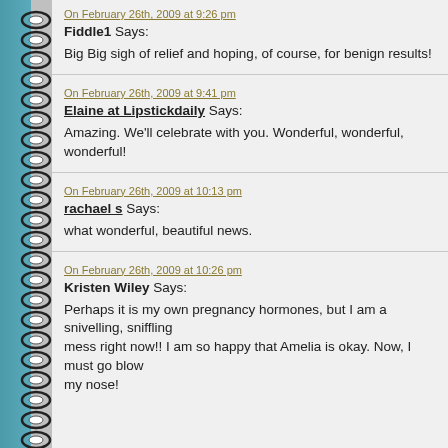On February 26th, 2009 at 9:26 pm
Fiddle1 Says:
Big Big sigh of relief and hoping, of course, for benign results!
On February 26th, 2009 at 9:41 pm
Elaine at Lipstickdaily Says:
Amazing. We'll celebrate with you. Wonderful, wonderful, wonderful!
On February 26th, 2009 at 10:13 pm
rachael s Says:
what wonderful, beautiful news.
On February 26th, 2009 at 10:26 pm
Kristen Wiley Says:
Perhaps it is my own pregnancy hormones, but I am a snivelling, sniffling mess right now!! I am so happy that Amelia is okay. Now, I must go blow my nose!